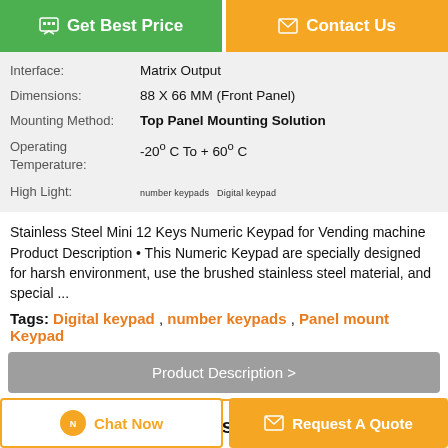[Figure (other): Two buttons at top: green 'Get Best Price' and orange 'Contact Us']
| Interface: | Matrix Output |
| Dimensions: | 88 X 66 MM (Front Panel) |
| Mounting Method: | Top Panel Mounting Solution |
| Operating Temperature: | -20° C To + 60° C |
| High Light: | number keypads, Digital keypad |
Stainless Steel Mini 12 Keys Numeric Keypad for Vending machine Product Description • This Numeric Keypad are specially designed for harsh environment, use the brushed stainless steel material, and special ...
Tags: Digital keypad , number keypads , Panel mount Keypad
Product Description >
Get the Best Price for
[Figure (other): Bottom buttons: 'Chat Now' and 'Request A Quote']